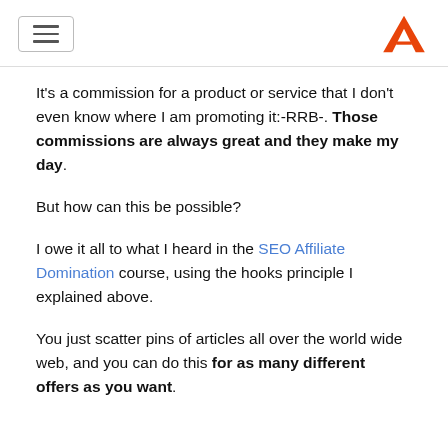[hamburger menu button] [A logo]
It's a commission for a product or service that I don't even know where I am promoting it:-RRB-. Those commissions are always great and they make my day.
But how can this be possible?
I owe it all to what I heard in the SEO Affiliate Domination course, using the hooks principle I explained above.
You just scatter pins of articles all over the world wide web, and you can do this for as many different offers as you want.